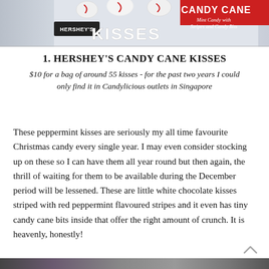[Figure (photo): Partial top view of a bag of Hershey's Candy Cane Kisses — white bag with red text reading 'CANDY CANE' and 'HERSHEY'S KISSES' with candy cane decorated chocolates visible, subtitle 'Mint Candy with Stripes and Candy Bits']
1. HERSHEY'S CANDY CANE KISSES
$10 for a bag of around 55 kisses - for the past two years I could only find it in Candylicious outlets in Singapore
These peppermint kisses are seriously my all time favourite Christmas candy every single year. I may even consider stocking up on these so I can have them all year round but then again, the thrill of waiting for them to be available during the December period will be lessened. These are little white chocolate kisses striped with red peppermint flavoured stripes and it even has tiny candy cane bits inside that offer the right amount of crunch. It is heavenly, honestly!
[Figure (photo): Partial bottom strip of another food product image, partially cut off]